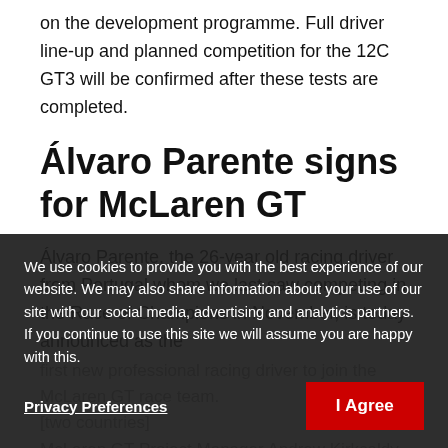on the development programme. Full driver line-up and planned competition for the 12C GT3 will be confirmed after these tests are completed.
Álvaro Parente signs for McLaren GT
Álvaro Parente, the 26-year old racing driver from Portugal whom we last saw competing in the Race of Champions in November, is today announced as the first new professional racing driver to join the McLaren GT race team. [two countries]
McLaren GT Project Manager Andrew Kirkcaldy and [Automotive Chief Test Driver Ch...] are leading the development of the 12C GT3, and in
We use cookies to provide you with the best experience of our website. We may also share information about your use of our site with our social media, advertising and analytics partners. If you continue to use this site we will assume you are happy with this.
Privacy Preferences
I Agree